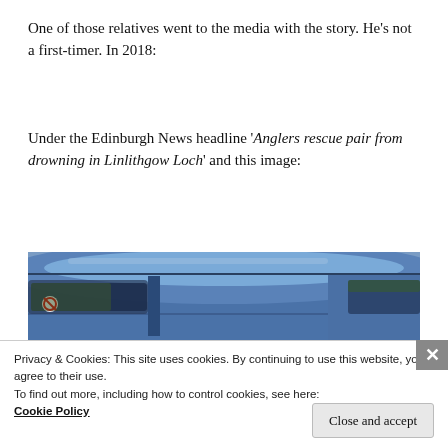One of those relatives went to the media with the story. He's not a first-timer. In 2018:
Under the Edinburgh News headline 'Anglers rescue pair from drowning in Linlithgow Loch' and this image:
[Figure (photo): Close-up photograph of a blue car, showing the roof and upper body panel with a window visible on the left side]
Privacy & Cookies: This site uses cookies. By continuing to use this website, you agree to their use.
To find out more, including how to control cookies, see here:
Cookie Policy
Close and accept